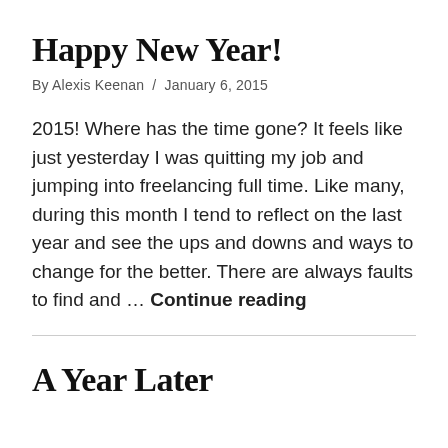Happy New Year!
By Alexis Keenan / January 6, 2015
2015! Where has the time gone? It feels like just yesterday I was quitting my job and jumping into freelancing full time. Like many, during this month I tend to reflect on the last year and see the ups and downs and ways to change for the better. There are always faults to find and … Continue reading
A Year Later